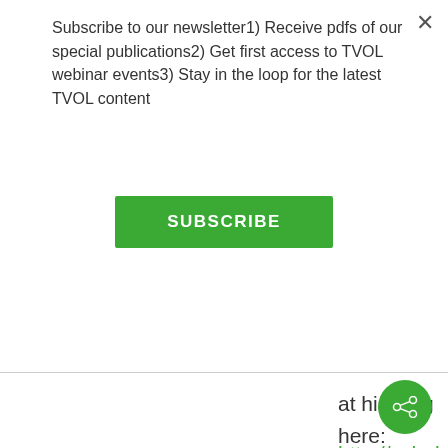Subscribe to our newsletter1) Receive pdfs of our special publications2) Get first access to TVOL webinar events3) Stay in the loop for the latest TVOL content
SUBSCRIBE
at his blog here:
http://scholars-stage.blogspot.com/2013/04/we and-east-and-how-we-think.html
not to mention a related post by greer about social